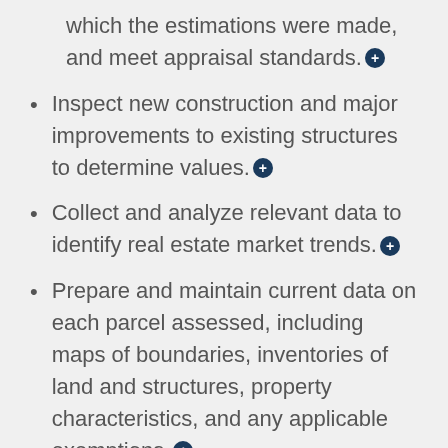(partial) which the estimations were made, and meet appraisal standards.+
Inspect new construction and major improvements to existing structures to determine values.+
Collect and analyze relevant data to identify real estate market trends.+
Prepare and maintain current data on each parcel assessed, including maps of boundaries, inventories of land and structures, property characteristics, and any applicable exemptions.+
Explain assessed values to property (partial)